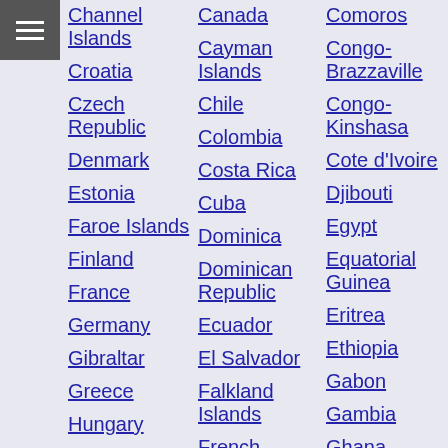Channel Islands
Croatia
Czech Republic
Denmark
Estonia
Faroe Islands
Finland
France
Germany
Gibraltar
Greece
Hungary
Iceland
Canada
Cayman Islands
Chile
Colombia
Costa Rica
Cuba
Dominica
Dominican Republic
Ecuador
El Salvador
Falkland Islands
French Guiana
Comoros
Congo-Brazzaville
Congo-Kinshasa
Cote d'Ivoire
Djibouti
Egypt
Equatorial Guinea
Eritrea
Ethiopia
Gabon
Gambia
Ghana